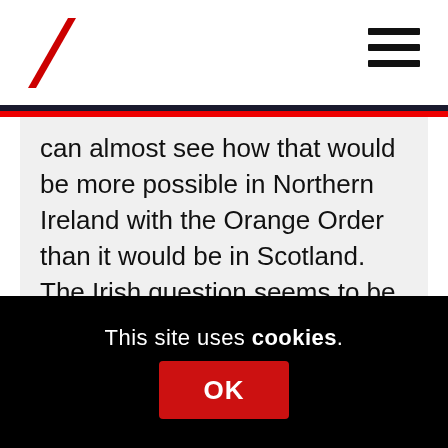[Figure (logo): Red diagonal slash logo (backslash shape) in top left corner]
can almost see how that would be more possible in Northern Ireland with the Orange Order than it would be in Scotland. The Irish question seems to be settled in a compromise for the time being while the situation in Scotland feels too charged to even begin that process. Perhaps I am wrong. Also one feels that it is very difficult for Scots to have that kind of process of building dialogue while still in the union, because of the sense that it is not just about us but others also have a vested interest in the process and many
This site uses cookies.
OK